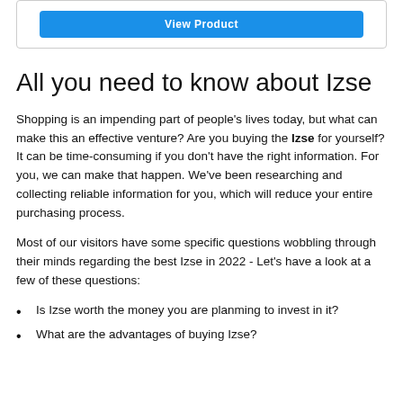[Figure (other): Blue 'View Product' button inside a card with border]
All you need to know about Izse
Shopping is an impending part of people's lives today, but what can make this an effective venture? Are you buying the Izse for yourself? It can be time-consuming if you don't have the right information. For you, we can make that happen. We've been researching and collecting reliable information for you, which will reduce your entire purchasing process.
Most of our visitors have some specific questions wobbling through their minds regarding the best Izse in 2022 - Let's have a look at a few of these questions:
Is Izse worth the money you are planming to invest in it?
What are the advantages of buying Izse?